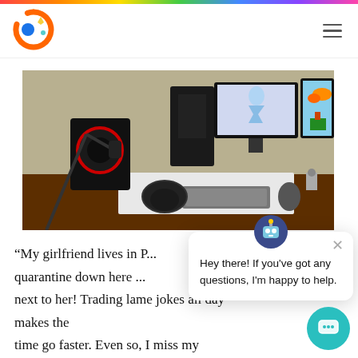[Figure (logo): Colorful circular logo with orange ring and blue/yellow accent shapes]
[Figure (photo): Gaming/work desk setup with two monitors, keyboard, headphones, microphone arm, and speakers]
“My girlfriend lives in P... quarantine down here ... next to her! Trading lame jokes all day makes the time go faster. Even so, I miss my officemate, Fr... ”
[Figure (screenshot): Chat widget popup with robot icon saying 'Hey there! If you've got any questions, I'm happy to help.']